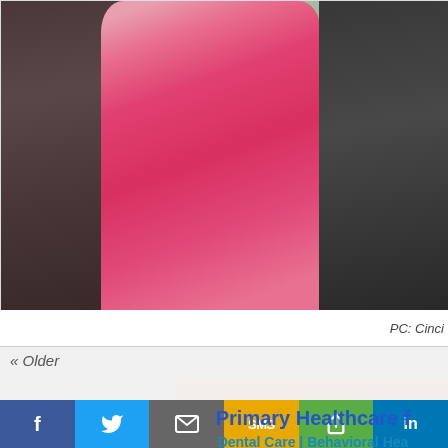[Figure (photo): A child wearing a pink shirt photographed from behind, with darker figures on both sides and storage bins visible on the left. The image is cropped showing the torso area.]
PC: Cinci
« Older
Primary Healthcare f
Dental Care | Behavioral Hea
[Figure (infographic): Social sharing bar with buttons: Facebook (f), Twitter (bird), Email (envelope), SMS, Share (<), LinkedIn (in)]